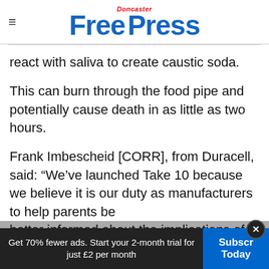Doncaster Free Press
react with saliva to create caustic soda.
This can burn through the food pipe and potentially cause death in as little as two hours.
Frank Imbescheid [CORR], from Duracell, said: “We’ve launched Take 10 because we believe it is our duty as manufacturers to help parents be better informed about the implications of an accidental lithium coin cell ingestion and the
Get 70% fewer ads. Start your 2-month trial for just £2 per month